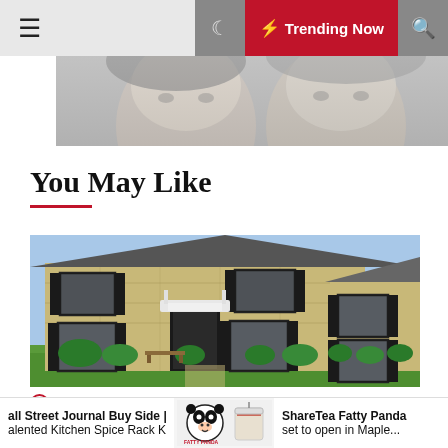≡  🌙  ⚡ Trending Now  🔍
[Figure (photo): Partial view of a person's face, grayscale, cropped at top]
You May Like
[Figure (photo): Two-story brick colonial house with black shutters, green lawn, clear blue sky]
2 years ago
all Street Journal Buy Side | The alented Kitchen Spice Rack Keeps...
[Figure (logo): ShareTea Fatty Panda logo with panda mascot and drink cup]
ShareTea Fatty Panda set to open in Maple...